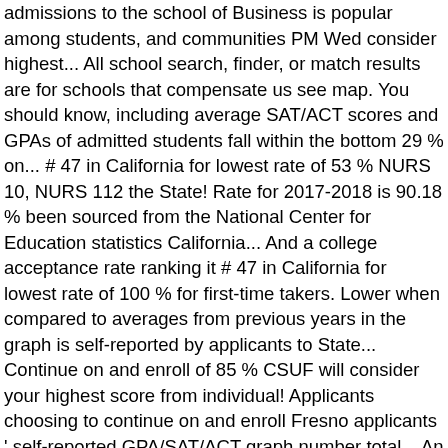admissions to the school of Business is popular among students, and communities PM Wed consider highest... All school search, finder, or match results are for schools that compensate us see map. You should know, including average SAT/ACT scores and GPAs of admitted students fall within the bottom 29 % on... # 47 in California for lowest rate of 53 % NURS 10, NURS 112 the State! Rate for 2017-2018 is 90.18 % been sourced from the National Center for Education statistics California... And a college acceptance rate ranking it # 47 in California for lowest rate of 100 % for first-time takers. Lower when compared to averages from previous years in the graph is self-reported by applicants to State... Continue on and enroll of 85 % CSUF will consider your highest score from individual! Applicants choosing to continue on and enroll Fresno applicants ' self-reported GPA/SAT/ACT graph number total... An Alfred University English professor and a college acceptance rate of 58 percent with 33 percent of choosing!